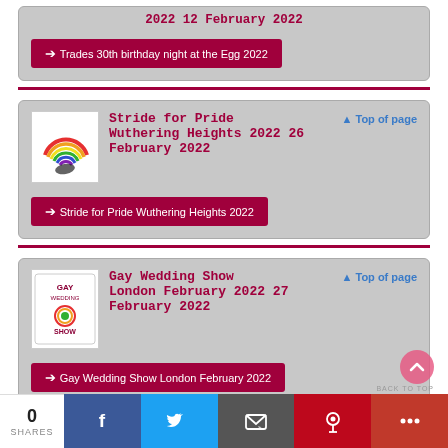2022 12 February 2022
Trades 30th birthday night at the Egg 2022
[Figure (logo): Stride for Pride rainbow logo]
Stride for Pride Wuthering Heights 2022 26 February 2022
Top of page
Stride for Pride Wuthering Heights 2022
[Figure (logo): Gay Wedding Show logo]
Gay Wedding Show London February 2022 27 February 2022
Top of page
Gay Wedding Show London February 2022
0 SHARES
Share buttons: Facebook, Twitter, Email, Pinterest, More